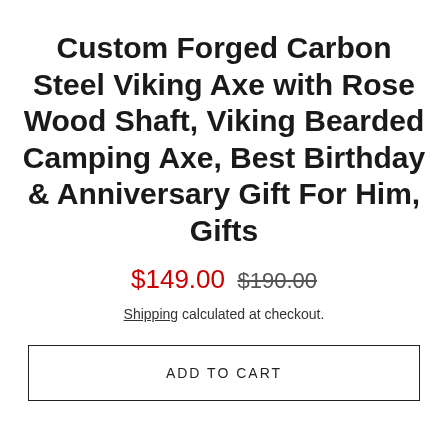Custom Forged Carbon Steel Viking Axe with Rose Wood Shaft, Viking Bearded Camping Axe, Best Birthday & Anniversary Gift For Him, Gifts
$149.00  $190.00
Shipping calculated at checkout.
ADD TO CART